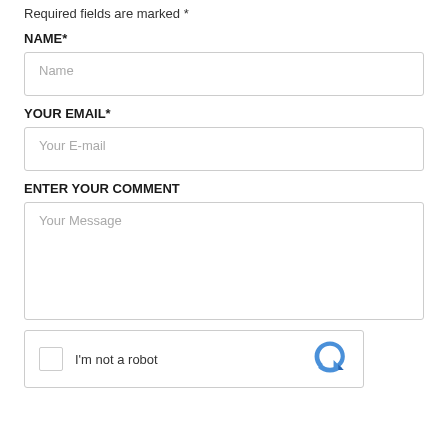Required fields are marked *
NAME*
Name
YOUR EMAIL*
Your E-mail
ENTER YOUR COMMENT
Your Message
I'm not a robot